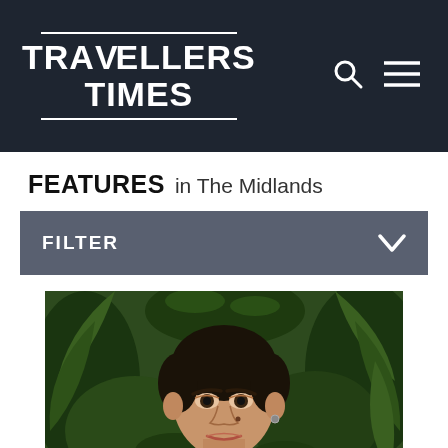TRAVELLERS TIMES
FEATURES in The Midlands
FILTER
[Figure (photo): Portrait of a young person with short dark hair, surrounded by green tropical plants and ferns, looking directly at the camera]